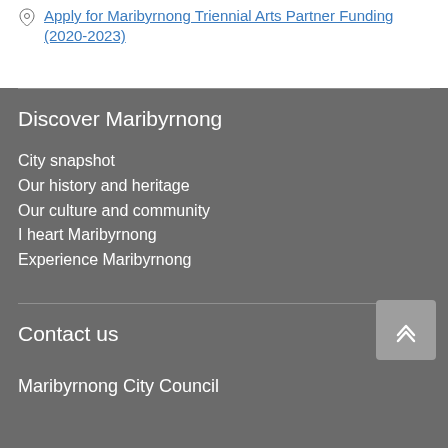Apply for Maribyrnong Triennial Arts Partner Funding (2020-2023)
Discover Maribyrnong
City snapshot
Our history and heritage
Our culture and community
I heart Maribyrnong
Experience Maribyrnong
Contact us
Maribyrnong City Council